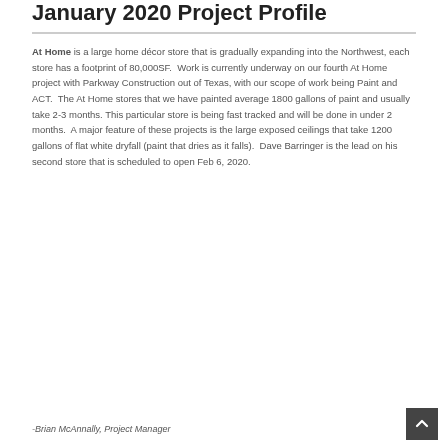January 2020 Project Profile
At Home is a large home décor store that is gradually expanding into the Northwest, each store has a footprint of 80,000SF. Work is currently underway on our fourth At Home project with Parkway Construction out of Texas, with our scope of work being Paint and ACT. The At Home stores that we have painted average 1800 gallons of paint and usually take 2-3 months. This particular store is being fast tracked and will be done in under 2 months. A major feature of these projects is the large exposed ceilings that take 1200 gallons of flat white dryfall (paint that dries as it falls). Dave Barringer is the lead on his second store that is scheduled to open Feb 6, 2020.
-Brian McAnnally, Project Manager